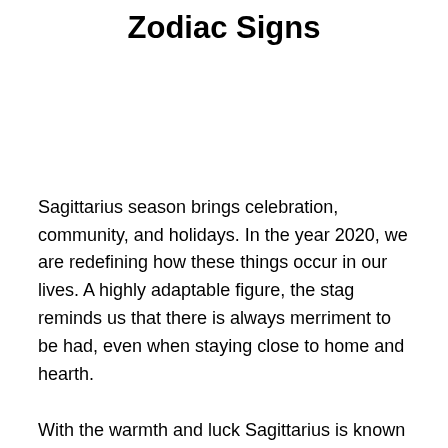Zodiac Signs
Sagittarius season brings celebration, community, and holidays. In the year 2020, we are redefining how these things occur in our lives. A highly adaptable figure, the stag reminds us that there is always merriment to be had, even when staying close to home and hearth.
With the warmth and luck Sagittarius is known for, 2020's final chapter can be wonderful, even within the boundaries of social distancing. Online hang